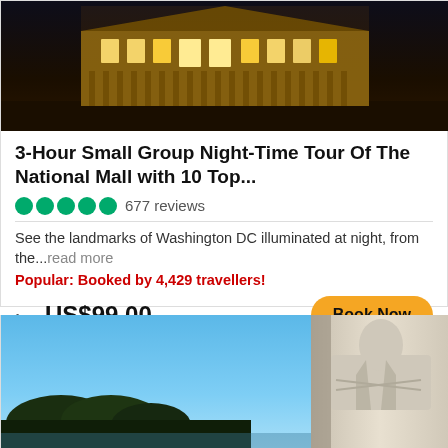[Figure (photo): Night-time illuminated neoclassical government building (U.S. Capitol / similar) with warm golden lights against dark sky]
3-Hour Small Group Night-Time Tour Of The National Mall with 10 Top...
677 reviews
See the landmarks of Washington DC illuminated at night, from the...read more
Popular: Booked by 4,429 travellers!
from US$99.00
[Figure (photo): Daytime photo of Martin Luther King Jr. Memorial statue — large stone figure with arms crossed against blue sky, trees in background]